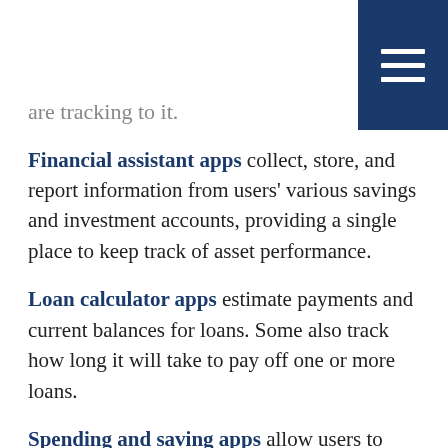are tracking to it.
Financial assistant apps collect, store, and report information from users' various savings and investment accounts, providing a single place to keep track of asset performance.
Loan calculator apps estimate payments and current balances for loans. Some also track how long it will take to pay off one or more loans.
Spending and saving apps allow users to perform a wide range of activities, including “what-if” scenarios.
Banking apps offer FDIC insured banking options, including (in some cases) faster direct deposits, bill paying,